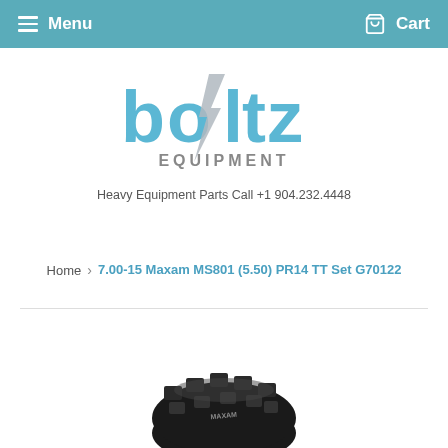Menu  Cart
[Figure (logo): Boltz Equipment logo — stylized blue lettering with lightning bolt through the 'o', text 'EQUIPMENT' below]
Heavy Equipment Parts Call +1 904.232.4448
Home › 7.00-15 Maxam MS801 (5.50) PR14 TT Set G70122
[Figure (photo): Partial view of a black industrial/forklift tire, dark tread pattern visible]